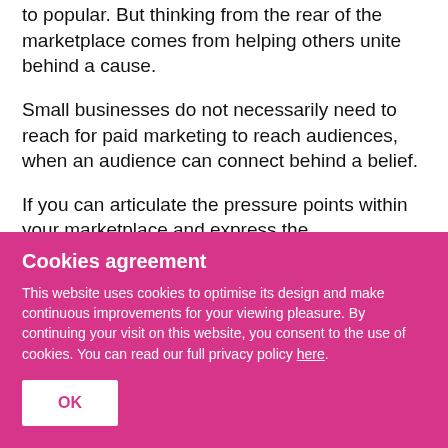to popular. But thinking from the rear of the marketplace comes from helping others unite behind a cause.
Small businesses do not necessarily need to reach for paid marketing to reach audiences, when an audience can connect behind a belief.
If you can articulate the pressure points within your marketplace and express the
Cookies agreement
This website uses cookies to optimise its design and make continuous improvements for your viewing pleasure. By continuing your visit on this website, you consent to the use of cookies. You can read our full privacy policy here.
OK